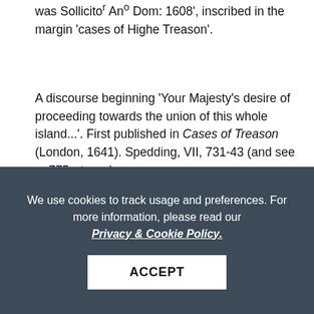was Sollicitor An° Dom: 1608', inscribed in the margin 'cases of Highe Treason'.
A discourse beginning 'Your Majesty's desire of proceeding towards the union of this whole island...'. First published in Cases of Treason (London, 1641). Spedding, VII, 731-43 (and see p. 775 et seq.).
BcF 729.5: Francis Bacon, Of the jurisdiction of Justices itinerant in the principality of Wales
Spedding, VII, 775-80 (also issued pp. 773-4). An adaptation by John Doddridge. History of the Principality of Wales, possibly
We use cookies to track usage and preferences. For more information, please read our Privacy & Cookie Policy.